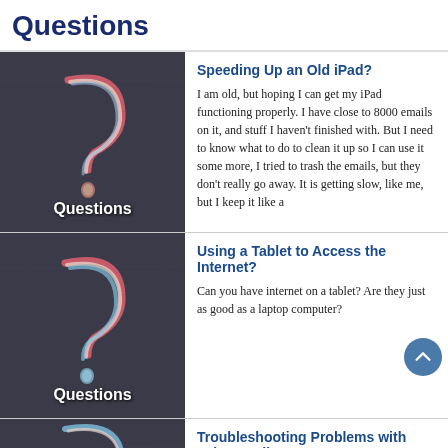Questions
[Figure (illustration): Chalkboard with colorful chalk question mark and text 'Questions' at bottom]
Speeding Up an Old iPad?
I am old, but hoping I can get my iPad functioning properly. I have close to 8000 emails on it, and stuff I haven't finished with. But I need to know what to do to clean it up so I can use it some more, I tried to trash the emails, but they don't really go away. It is getting slow, like me, but I keep it like a
[Figure (illustration): Chalkboard with colorful chalk question mark and text 'Questions' at bottom]
Using a Tablet to Access the Internet?
Can you have internet on a tablet? Are they just as good as a laptop computer?
[Figure (illustration): Chalkboard with colorful chalk question mark (partial view)]
Troubleshooting Problems with Yahoo Mail?